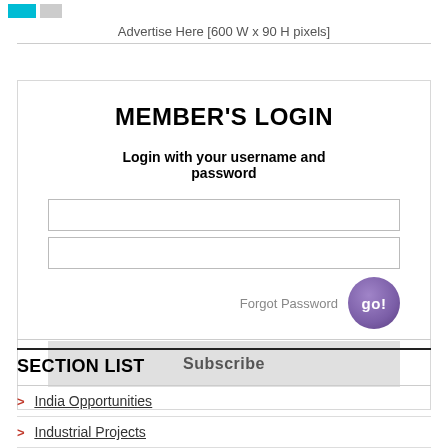[Figure (other): Teal and gray colored blocks/tabs at top]
Advertise Here [600 W x 90 H pixels]
MEMBER'S LOGIN
Login with your username and password
[Figure (screenshot): Login form with two input fields, a go button, Forgot Password link, and Subscribe button]
SECTION LIST
India Opportunities
Industrial Projects